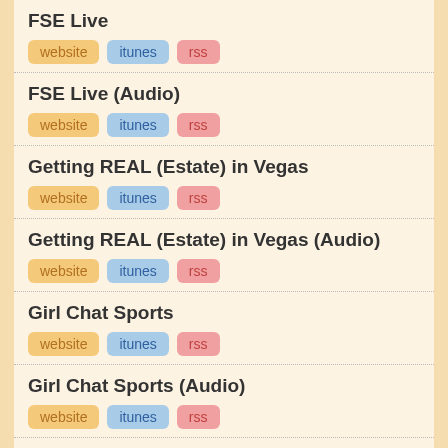FSE Live
website | itunes | rss
FSE Live (Audio)
website | itunes | rss
Getting REAL (Estate) in Vegas
website | itunes | rss
Getting REAL (Estate) in Vegas (Audio)
website | itunes | rss
Girl Chat Sports
website | itunes | rss
Girl Chat Sports (Audio)
website | itunes | rss
Golf & Other Fore-Lett...
website | itunes | rss
Send Us a Voicemail!